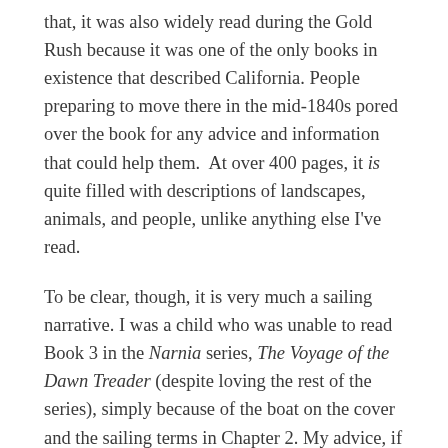that, it was also widely read during the Gold Rush because it was one of the only books in existence that described California. People preparing to move there in the mid-1840s pored over the book for any advice and information that could help them.  At over 400 pages, it is quite filled with descriptions of landscapes, animals, and people, unlike anything else I've read.
To be clear, though, it is very much a sailing narrative. I was a child who was unable to read Book 3 in the Narnia series, The Voyage of the Dawn Treader (despite loving the rest of the series), simply because of the boat on the cover and the sailing terms in Chapter 2. My advice, if you feel similarly, is to approach Two Years as if it were two books in one: a sailing book and a book about California. Simply skim through the former but savor the latter.
Dana boarded a ship in Boston in 1834 and sailed around the Horn to California, returning home two